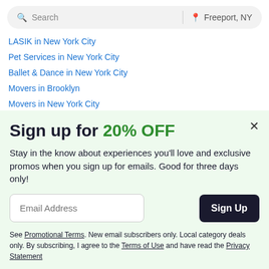[Figure (screenshot): Search bar with 'Search' placeholder text and 'Freeport, NY' location indicator]
LASIK in New York City
Pet Services in New York City
Ballet & Dance in New York City
Movers in Brooklyn
Movers in New York City
Sign up for 20% OFF
Stay in the know about experiences you'll love and exclusive promos when you sign up for emails. Good for three days only!
Email Address
See Promotional Terms. New email subscribers only. Local category deals only. By subscribing, I agree to the Terms of Use and have read the Privacy Statement